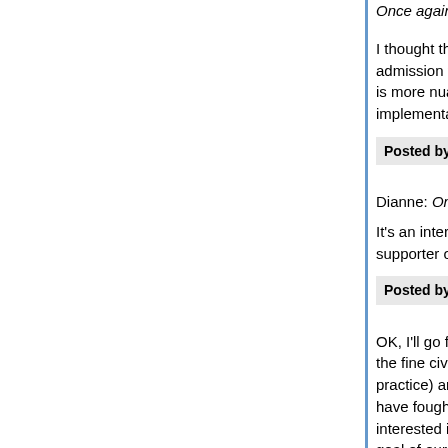Once again, why call for regime change in Iran ar
I thought that Charles' inclusion of Saudia Arabia admission that they too are part of the problem, b is more nuanced than Iran because they are an i implementation of the WOT.
Posted by: nous_athanatos | May 25, 2005 at 02:02 PM
Dianne: Once again, why call for regime change i
It's an interesting question, but not one I imagine supporter of George W. Bush, would want to disc
Posted by: Jesurgislac | May 25, 2005 at 02:05 PM
OK, I'll go for the other side in this. Yielding to no the fine civil system bequeathed to us by our four practice) and zeal for nearly total separation of ch have fought here in North America from Roger W interested in making adoption of our framework b goal of our foreign policy.
(Let me here digress and say that I took the oppo